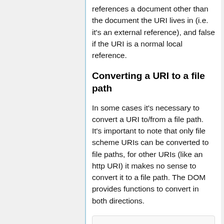references a document other than the document the URI lives in (i.e. it's an external reference), and false if the URI is a normal local reference.
Converting a URI to a file path
In some cases it's necessary to convert a URI to/from a file path. It's important to note that only file scheme URIs can be converted to file paths, for other URIs (like an http URI) it makes no sense to convert it to a file path. The DOM provides functions to convert in both directions.
namespace cdom {
    std::string nativePathToUri(const std::string& nativePath,